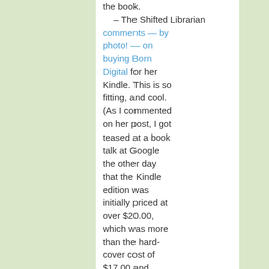the book.
    – The Shifted Librarian comments — by photo! — on buying Born Digital for her Kindle. This is so fitting, and cool. (As I commented on her post, I got teased at a book talk at Google the other day that the Kindle edition was initially priced at over $20.00, which was more than the hard-cover cost of $17.00 and change; it's since come down some.)
    – I am grateful to the Librarians!